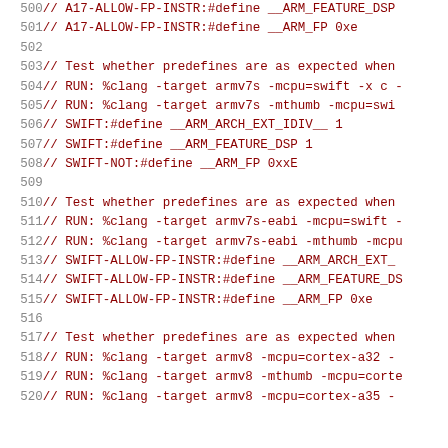500  // A17-ALLOW-FP-INSTR:#define __ARM_FEATURE_DSP
501  // A17-ALLOW-FP-INSTR:#define __ARM_FP 0xe
502
503  // Test whether predefines are as expected when
504  // RUN: %clang -target armv7s -mcpu=swift -x c -
505  // RUN: %clang -target armv7s -mthumb -mcpu=swi
506  // SWIFT:#define __ARM_ARCH_EXT_IDIV__ 1
507  // SWIFT:#define __ARM_FEATURE_DSP 1
508  // SWIFT-NOT:#define __ARM_FP 0xxE
509
510  // Test whether predefines are as expected when
511  // RUN: %clang -target armv7s-eabi -mcpu=swift -
512  // RUN: %clang -target armv7s-eabi -mthumb -mcpu
513  // SWIFT-ALLOW-FP-INSTR:#define __ARM_ARCH_EXT_
514  // SWIFT-ALLOW-FP-INSTR:#define __ARM_FEATURE_DS
515  // SWIFT-ALLOW-FP-INSTR:#define __ARM_FP 0xe
516
517  // Test whether predefines are as expected when
518  // RUN: %clang -target armv8 -mcpu=cortex-a32 -
519  // RUN: %clang -target armv8 -mthumb -mcpu=corte
520  // RUN: %clang -target armv8 -mcpu=cortex-a35 -